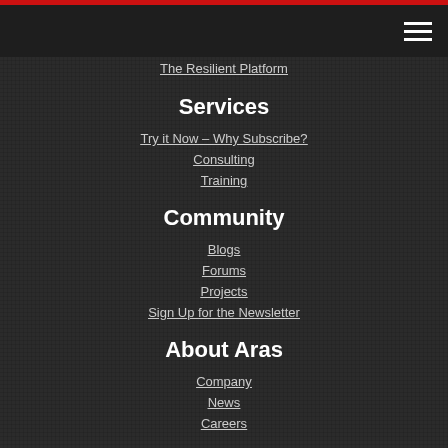The Resilient Platform
Services
Try it Now – Why Subscribe?
Consulting
Training
Community
Blogs
Forums
Projects
Sign Up for the Newsletter
About Aras
Company
News
Careers